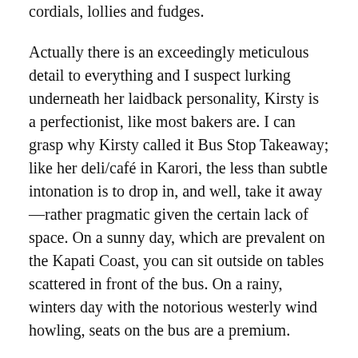cordials, lollies and fudges.
Actually there is an exceedingly meticulous detail to everything and I suspect lurking underneath her laidback personality, Kirsty is a perfectionist, like most bakers are. I can grasp why Kirsty called it Bus Stop Takeaway; like her deli/café in Karori, the less than subtle intonation is to drop in, and well, take it away—rather pragmatic given the certain lack of space. On a sunny day, which are prevalent on the Kapati Coast, you can sit outside on tables scattered in front of the bus. On a rainy, winters day with the notorious westerly wind howling, seats on the bus are a premium.
On measure, despite its size and solitude, the Bus Stop Takeaway/Café/Deli/Community Therapeutic Centre, has more mojo than any café I have experienced on this planet, and not just this year—in premise with this